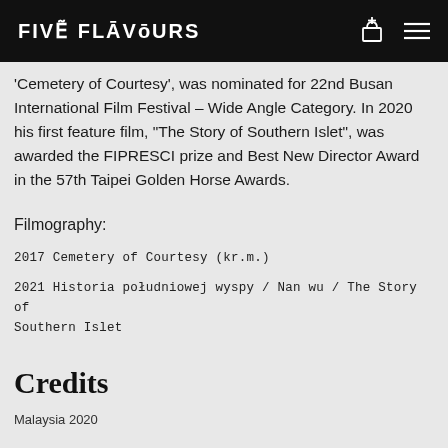FIVE FLAVOURS
'Cemetery of Courtesy', was nominated for 22nd Busan International Film Festival – Wide Angle Category. In 2020 his first feature film, "The Story of Southern Islet", was awarded the FIPRESCI prize and Best New Director Award in the 57th Taipei Golden Horse Awards.
Filmography:
2017 Cemetery of Courtesy (kr.m.)
2021 Historia południowej wyspy / Nan wu / The Story of Southern Islet
Credits
Malaysia 2020